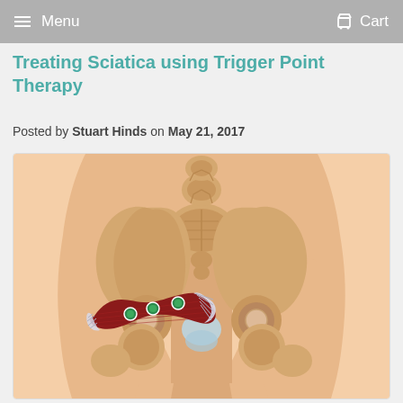Menu  Cart
Treating Sciatica using Trigger Point Therapy
Posted by Stuart Hinds on May 21, 2017
[Figure (illustration): Medical illustration showing the posterior pelvis and hip region. The piriformis muscle is highlighted in red with fibrous white tendon attachment, overlying the sacrum and inserting near the greater trochanter of the femur. Three green trigger point markers are shown on the muscle belly. A light blue shaded area is visible at the base of the sacrum. The pelvic bones, sacrum, ilium, femur heads, and lumbar vertebrae are rendered in tan/beige tones.]